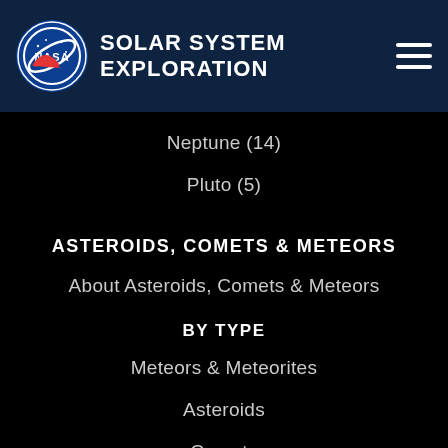NASA SOLAR SYSTEM EXPLORATION
Neptune (14)
Pluto (5)
ASTEROIDS, COMETS & METEORS
About Asteroids, Comets & Meteors
BY TYPE
Meteors & Meteorites
Asteroids
Comets
MORE
News
What's Up: Skywatching Tips from NASA
Resources
Raw Images